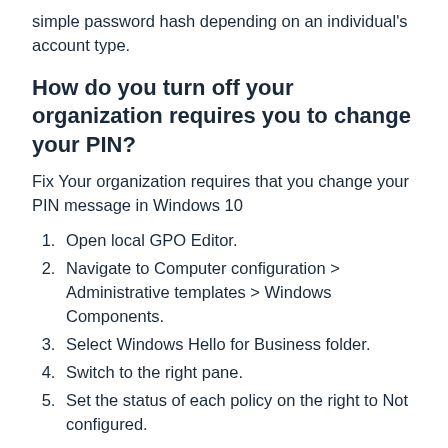simple password hash depending on an individual's account type.
How do you turn off your organization requires you to change your PIN?
Fix Your organization requires that you change your PIN message in Windows 10
Open local GPO Editor.
Navigate to Computer configuration > Administrative templates > Windows Components.
Select Windows Hello for Business folder.
Switch to the right pane.
Set the status of each policy on the right to Not configured.
Does Windows Hello for business